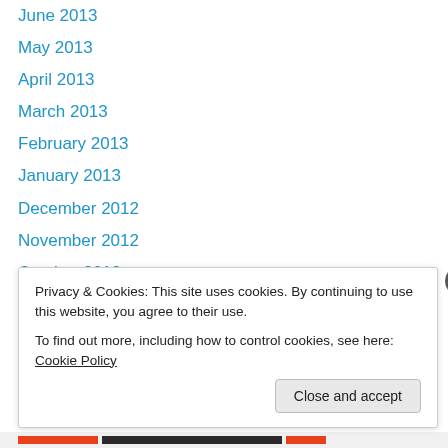June 2013
May 2013
April 2013
March 2013
February 2013
January 2013
December 2012
November 2012
October 2012
September 2012
July 2012
May 2012
February 2012
Privacy & Cookies: This site uses cookies. By continuing to use this website, you agree to their use. To find out more, including how to control cookies, see here: Cookie Policy
Close and accept